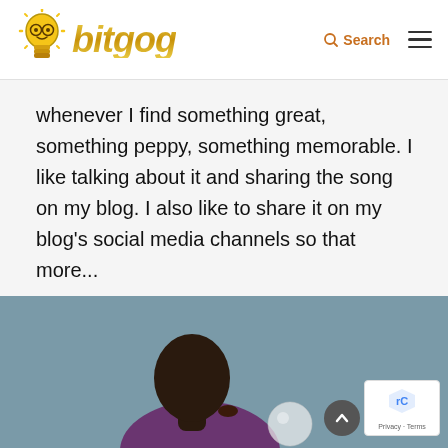bitgog — Search / Menu
whenever I find something great, something peppy, something memorable. I like talking about it and sharing the song on my blog. I also like to share it on my blog's social media channels so that more...
[Figure (photo): A man blowing a bubble gum bubble, photographed in profile against a grey-blue background, wearing a patterned shirt]